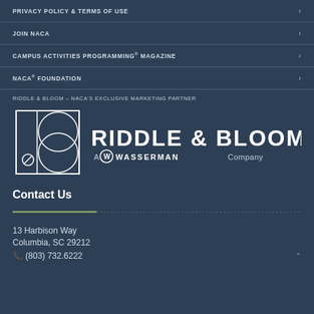PRIVACY POLICY & TERMS OF USE
JOIN NACA
CAMPUS ACTIVITIES PROGRAMMING® MAGAZINE
NACA® FOUNDATION
RIDDLE & BLOOM – NACA'S EXCLUSIVE MARKETING PARTNER
[Figure (logo): Riddle & Bloom logo with a B-shaped geometric mark and Wasserman Company tagline]
Contact Us
13 Harbison Way
Columbia, SC 29212
(803) 732.6222